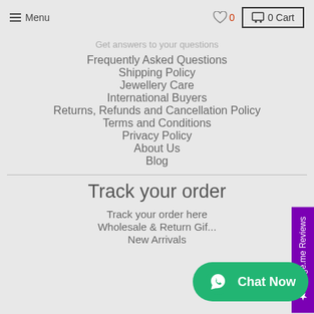≡ Menu   ♡ 0   🛒 0 Cart
Get answers to your questions
Frequently Asked Questions
Shipping Policy
Jewellery Care
International Buyers
Returns, Refunds and Cancellation Policy
Terms and Conditions
Privacy Policy
About Us
Blog
Track your order
Track your order here
Wholesale & Return Gif...
New Arrivals